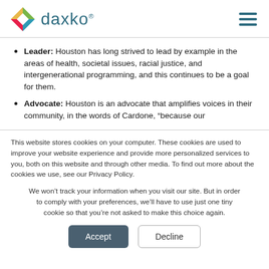[Figure (logo): Daxko logo with colorful geometric icon and text 'daxko' with registered trademark symbol, and a hamburger menu icon on the right]
Leader: Houston has long strived to lead by example in the areas of health, societal issues, racial justice, and intergenerational programming, and this continues to be a goal for them.
Advocate: Houston is an advocate that amplifies voices in their community, in the words of Cardone, “because our
This website stores cookies on your computer. These cookies are used to improve your website experience and provide more personalized services to you, both on this website and through other media. To find out more about the cookies we use, see our Privacy Policy.
We won’t track your information when you visit our site. But in order to comply with your preferences, we’ll have to use just one tiny cookie so that you’re not asked to make this choice again.
Accept | Decline